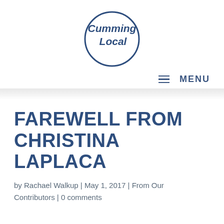[Figure (logo): Cumming Local circular logo with hand-lettered text inside a circle, dark navy blue color]
MENU
FAREWELL FROM CHRISTINA LAPLACA
by Rachael Walkup | May 1, 2017 | From Our Contributors | 0 comments